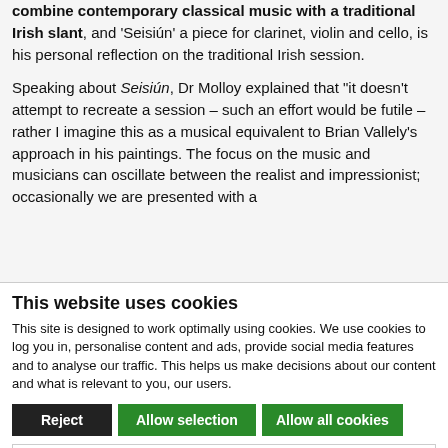combine contemporary classical music with a traditional Irish slant, and 'Seisiún' a piece for clarinet, violin and cello, is his personal reflection on the traditional Irish session.
Speaking about Seisiún, Dr Molloy explained that "it doesn't attempt to recreate a session – such an effort would be futile – rather I imagine this as a musical equivalent to Brian Vallely's approach in his paintings. The focus on the music and musicians can oscillate between the realist and impressionist; occasionally we are presented with a
This website uses cookies
This site is designed to work optimally using cookies. We use cookies to log you in, personalise content and ads, provide social media features and to analyse our traffic. This helps us make decisions about our content and what is relevant to you, our users.
Reject | Allow selection | Allow all cookies
Necessary | Preferences | Statistics | Marketing | Show details